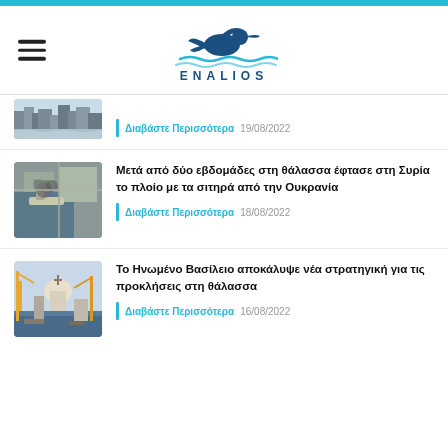ENALIOS
Διαβάστε Περισσότερα 19/08/2022
Μετά από δύο εβδομάδες στη θάλασσα έφτασε στη Συρία το πλοίο με τα σιτηρά από την Ουκρανία
Διαβάστε Περισσότερα 18/08/2022
Το Ηνωμένο Βασίλειο αποκάλυψε νέα στρατηγική για τις προκλήσεις στη θάλασσα
Διαβάστε Περισσότερα 16/08/2022